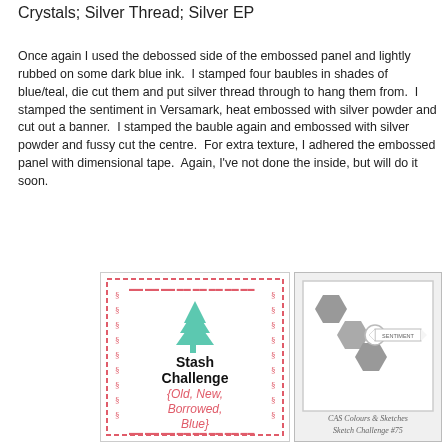Crystals; Silver Thread; Silver EP
Once again I used the debossed side of the embossed panel and lightly rubbed on some dark blue ink.  I stamped four baubles in shades of blue/teal, die cut them and put silver thread through to hang them from.  I stamped the sentiment in Versamark, heat embossed with silver powder and cut out a banner.  I stamped the bauble again and embossed with silver powder and fussy cut the centre.  For extra texture, I adhered the embossed panel with dimensional tape.  Again, I've not done the inside, but will do it soon.
[Figure (illustration): Stash Challenge badge with dashed red border, teal Christmas tree, and text: Stash Challenge {Old, New, Borrowed, Blue}]
[Figure (illustration): CAS Colours & Sketches Sketch Challenge #75 card layout sketch with grey hexagons, circle, and sentiment banner]